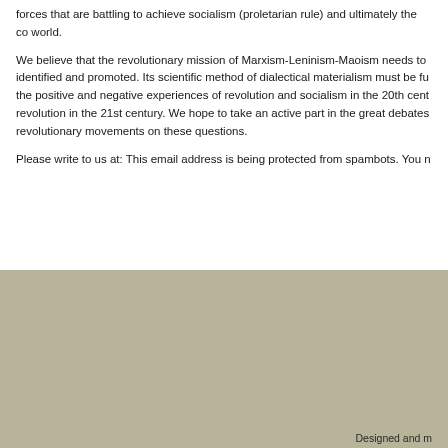forces that are battling to achieve socialism (proletarian rule) and ultimately the co world.
We believe that the revolutionary mission of Marxism-Leninism-Maoism needs to identified and promoted. Its scientific method of dialectical materialism must be fu the positive and negative experiences of revolution and socialism in the 20th cent revolution in the 21st century. We hope to take an active part in the great debates revolutionary movements on these questions.
Please write to us at: This email address is being protected from spambots. You n
[Figure (illustration): Colorful illustration/painting of a crowd of people with large red flags and banners, depicting a revolutionary mass gathering scene.]
Designed and m